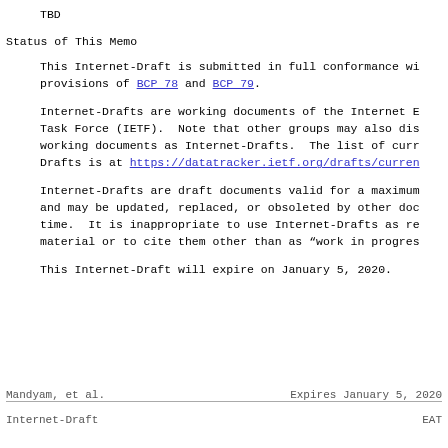TBD
Status of This Memo
This Internet-Draft is submitted in full conformance with the provisions of BCP 78 and BCP 79.
Internet-Drafts are working documents of the Internet Engineering Task Force (IETF).  Note that other groups may also distribute working documents as Internet-Drafts.  The list of current Internet-Drafts is at https://datatracker.ietf.org/drafts/current/.
Internet-Drafts are draft documents valid for a maximum of six months and may be updated, replaced, or obsoleted by other documents at any time.  It is inappropriate to use Internet-Drafts as reference material or to cite them other than as "work in progress".
This Internet-Draft will expire on January 5, 2020.
Mandyam, et al.    Expires January 5, 2020
Internet-Draft    EAT